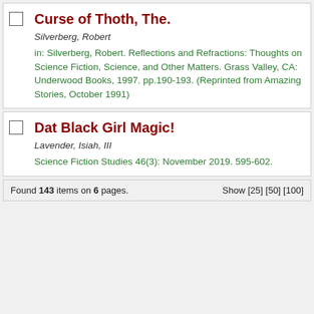Curse of Thoth, The.
Silverberg, Robert
in: Silverberg, Robert. Reflections and Refractions: Thoughts on Science Fiction, Science, and Other Matters. Grass Valley, CA: Underwood Books, 1997. pp.190-193. (Reprinted from Amazing Stories, October 1991)
Dat Black Girl Magic!
Lavender, Isiah, III
Science Fiction Studies 46(3): November 2019. 595-602.
Found 143 items on 6 pages. Show [25] [50] [100]